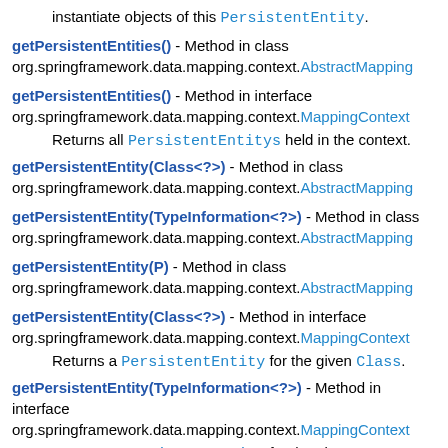instantiate objects of this PersistentEntity.
getPersistentEntities() - Method in class org.springframework.data.mapping.context.AbstractMapping
getPersistentEntities() - Method in interface org.springframework.data.mapping.context.MappingContext
  Returns all PersistentEntitys held in the context.
getPersistentEntity(Class<?>) - Method in class org.springframework.data.mapping.context.AbstractMapping
getPersistentEntity(TypeInformation<?>) - Method in class org.springframework.data.mapping.context.AbstractMapping
getPersistentEntity(P) - Method in class org.springframework.data.mapping.context.AbstractMapping
getPersistentEntity(Class<?>) - Method in interface org.springframework.data.mapping.context.MappingContext
  Returns a PersistentEntity for the given Class.
getPersistentEntity(TypeInformation<?>) - Method in interface org.springframework.data.mapping.context.MappingContext
  Returns a PersistentEntity for the given TypeInformation.